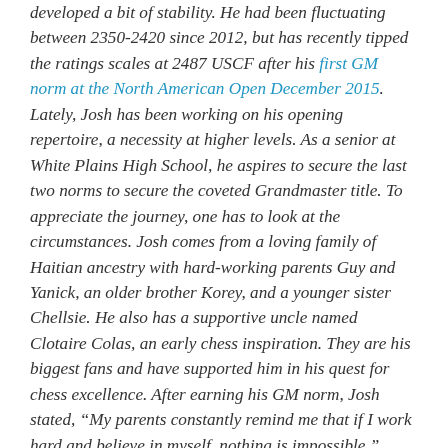developed a bit of stability. He had been fluctuating between 2350-2420 since 2012, but has recently tipped the ratings scales at 2487 USCF after his first GM norm at the North American Open December 2015. Lately, Josh has been working on his opening repertoire, a necessity at higher levels. As a senior at White Plains High School, he aspires to secure the last two norms to secure the coveted Grandmaster title. To appreciate the journey, one has to look at the circumstances. Josh comes from a loving family of Haitian ancestry with hard-working parents Guy and Yanick, an older brother Korey, and a younger sister Chellsie. He also has a supportive uncle named Clotaire Colas, an early chess inspiration. They are his biggest fans and have supported him in his quest for chess excellence. After earning his GM norm, Josh stated, “My parents constantly remind me that if I work hard and believe in myself, nothing is impossible.” Daaim Shabazz is the editor and founder of the chessdrum.net. You can also find him on twitter and facebook.